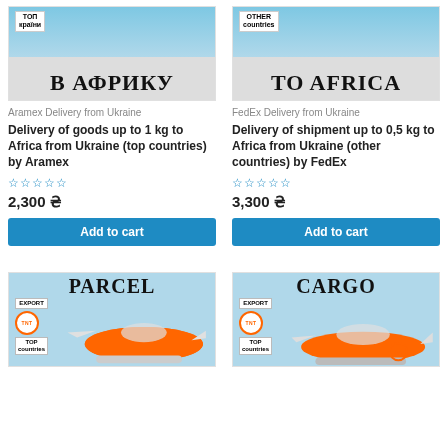[Figure (photo): Product image for Africa delivery by Aramex - shows blue sky with Ukrainian text В АФРИКУ and top countries label]
Aramex Delivery from Ukraine
Delivery of goods up to 1 kg to Africa from Ukraine (top countries) by Aramex
2,300 ₴
Add to cart
[Figure (photo): Product image for Africa delivery by FedEx - shows airplane and blue sky with TO AFRICA text and OTHER countries label]
FedEx Delivery from Ukraine
Delivery of shipment up to 0,5 kg to Africa from Ukraine (other countries) by FedEx
3,300 ₴
Add to cart
[Figure (photo): PARCEL product image - orange TNT airplane, EXPORT label, TOP countries, TNT logo]
[Figure (photo): CARGO product image - orange TNT cargo plane, EXPORT label, TOP countries, TNT logo]